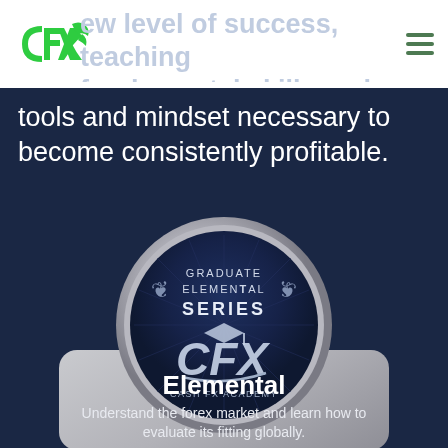CFX logo and navigation
new level of success, teaching fundamental skills and competencies, tools and mindset necessary to become consistently profitable.
[Figure (logo): Graduate Elemental Series badge/medal with CFX Cash FX Academy logo in center, circular dark navy medal with silver border and laurel wreath details, mounted on a silver/grey rounded card]
Elemental
Understand the forex market and learn how to evaluate its fitting globally.